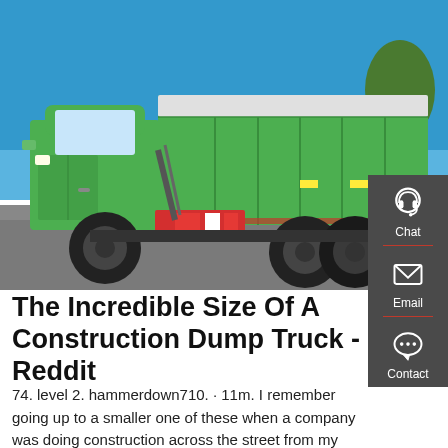[Figure (photo): A large green construction dump truck photographed from the side against a blue sky background, parked on a paved surface.]
The Incredible Size Of A Construction Dump Truck - Reddit
74. level 2. hammerdown710. · 11m. I remember going up to a smaller one of these when a company was doing construction across the street from my house and it dwarfed normal dump trucks. The truck pictured is like 5x bugger than that one so I can't even